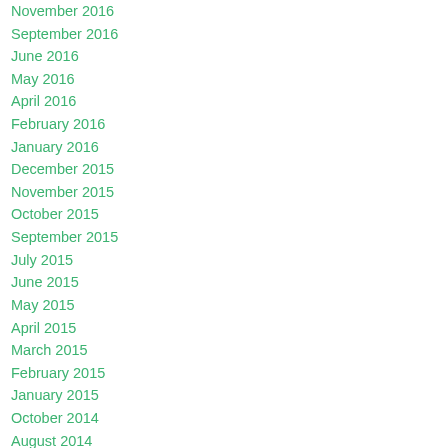November 2016
September 2016
June 2016
May 2016
April 2016
February 2016
January 2016
December 2015
November 2015
October 2015
September 2015
July 2015
June 2015
May 2015
April 2015
March 2015
February 2015
January 2015
October 2014
August 2014
Categories